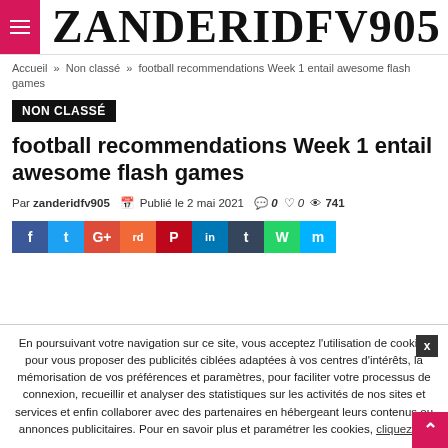ZANDERIDFV905
Accueil » Non classé » football recommendations Week 1 entail awesome flash games
NON CLASSÉ
football recommendations Week 1 entail awesome flash games
Par zanderidfv905  Publié le 2 mai 2021  0  0  741
[Figure (other): Social media share buttons: Facebook, Twitter, Google+, Reddit, Pinterest, LinkedIn, Tumblr, WhatsApp, Messenger]
En poursuivant votre navigation sur ce site, vous acceptez l'utilisation de cookies pour vous proposer des publicités ciblées adaptées à vos centres d'intérêts, la mémorisation de vos préférences et paramètres, pour faciliter votre processus de connexion, recueillir et analyser des statistiques sur les activités de nos sites et services et enfin collaborer avec des partenaires en hébergeant leurs contenus ou annonces publicitaires. Pour en savoir plus et paramétrer les cookies, cliquez ici.